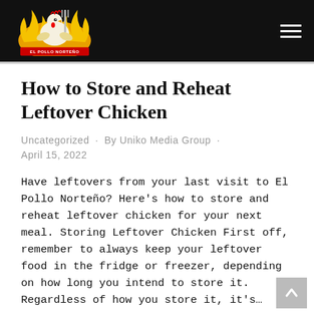[Figure (logo): El Pollo Norteño restaurant logo — cartoon chicken with fork, flames, on dark header bar with hamburger menu icon]
How to Store and Reheat Leftover Chicken
Uncategorized · By Uniko Media Group · April 15, 2022
Have leftovers from your last visit to El Pollo Norteño? Here's how to store and reheat leftover chicken for your next meal. Storing Leftover Chicken First off, remember to always keep your leftover food in the fridge or freezer, depending on how long you intend to store it. Regardless of how you store it, it's…